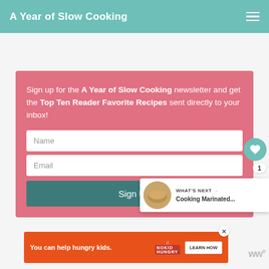A Year of Slow Cooking
Sign up for the A Year of Slow Cooking newsletter and get the Top Ten Reader Favorite Recipes sent directly to your inbox!
[Figure (screenshot): Newsletter signup form with Name field, Email field, and Sign Up button on a pink/rose background]
[Figure (other): What's Next panel showing Cooking Marinated... with food thumbnail]
[Figure (other): Advertisement banner: You can help hungry kids. No Kid Hungry. Learn How.]